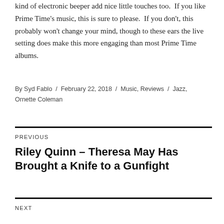kind of electronic beeper add nice little touches too.  If you like Prime Time's music, this is sure to please.  If you don't, this probably won't change your mind, though to these ears the live setting does make this more engaging than most Prime Time albums.
By Syd Fablo / February 22, 2018 / Music, Reviews / Jazz, Ornette Coleman
PREVIOUS
Riley Quinn – Theresa May Has Brought a Knife to a Gunfight
NEXT